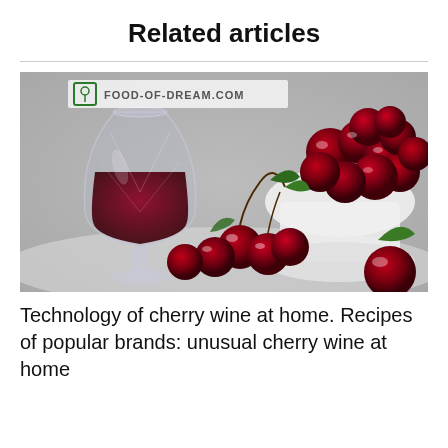Related articles
[Figure (photo): A photo showing a crystal glass of dark red cherry wine alongside fresh red cherries with stems and leaves, and a white bowl filled with cherries in the background. Watermark reads FOOD-OF-DREAM.COM.]
Technology of cherry wine at home. Recipes of popular brands: unusual cherry wine at home